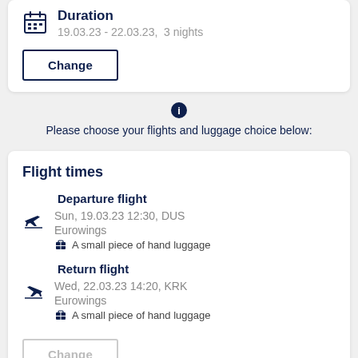Duration
19.03.23 - 22.03.23,  3 nights
Change
Please choose your flights and luggage choice below:
Flight times
Departure flight
Sun, 19.03.23 12:30, DUS
Eurowings
A small piece of hand luggage
Return flight
Wed, 22.03.23 14:20, KRK
Eurowings
A small piece of hand luggage
Change